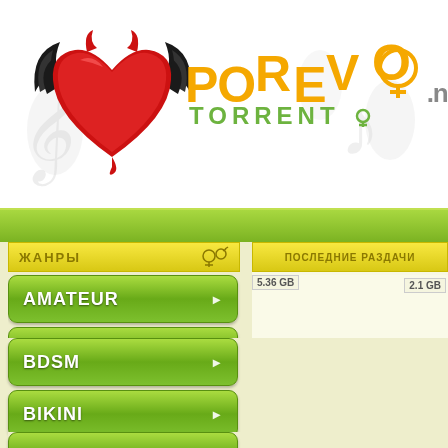[Figure (logo): Porevo Torrent logo with winged devil heart and orange/green text]
ЖАНРЫ
ПОСЛЕДНИЕ РАЗДАЧИ
AMATEUR
ANAL
ASIAN
BDSM
BIKINI
BLACK
5.36 GB
2.1 GB